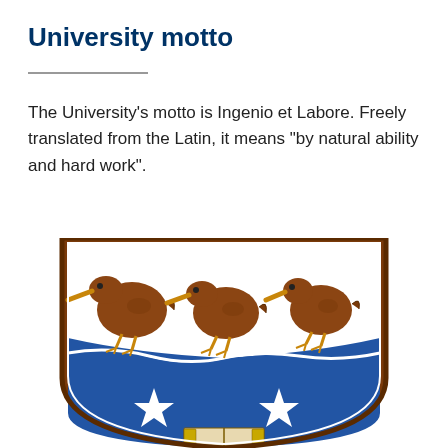University motto
The University's motto is Ingenio et Labore. Freely translated from the Latin, it means "by natural ability and hard work".
[Figure (illustration): University coat of arms showing three brown kiwi birds on a white background in the upper portion, and a blue lower portion with two white stars and an open book at the bottom, all within a shield shape with a brown border.]